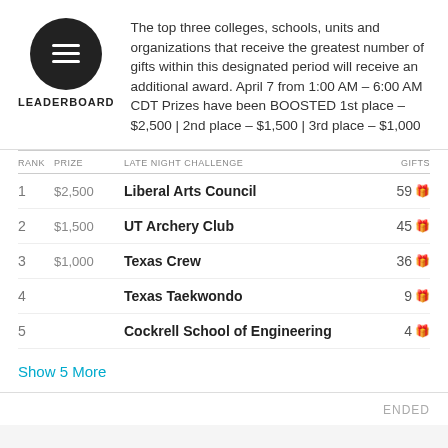[Figure (logo): Circular dark logo with lines and 'LEADERBOARD' label below]
The top three colleges, schools, units and organizations that receive the greatest number of gifts within this designated period will receive an additional award. April 7 from 1:00 AM – 6:00 AM CDT Prizes have been BOOSTED 1st place – $2,500 | 2nd place – $1,500 | 3rd place – $1,000
| RANK | PRIZE | LATE NIGHT CHALLENGE | GIFTS |
| --- | --- | --- | --- |
| 1 | $2,500 | Liberal Arts Council | 59 |
| 2 | $1,500 | UT Archery Club | 45 |
| 3 | $1,000 | Texas Crew | 36 |
| 4 |  | Texas Taekwondo | 9 |
| 5 |  | Cockrell School of Engineering | 4 |
Show 5 More
ENDED
Midnight Madness Match